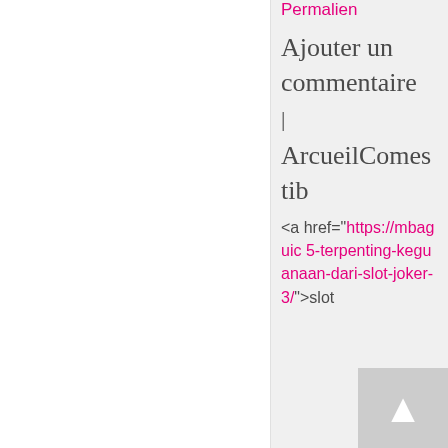Permalien
Ajouter un commentaire | ArcueilComestib
<a href="https://mbaguic 5-terpenting-keguanaan-dari-slot-joker-3/">slot